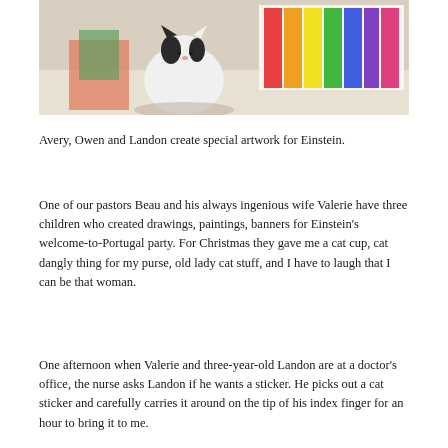[Figure (photo): A black and white cat sitting on a table surrounded by colorful children's artwork, drawings, and paintings.]
Avery, Owen and Landon create special artwork for Einstein.
One of our pastors Beau and his always ingenious wife Valerie have three children who created drawings, paintings, banners for Einstein's welcome-to-Portugal party. For Christmas they gave me a cat cup, cat dangly thing for my purse, old lady cat stuff, and I have to laugh that I can be that woman.
One afternoon when Valerie and three-year-old Landon are at a doctor's office, the nurse asks Landon if he wants a sticker. He picks out a cat sticker and carefully carries it around on the tip of his index finger for an hour to bring it to me.